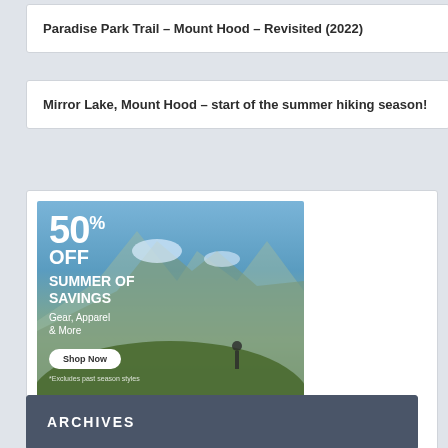Paradise Park Trail – Mount Hood – Revisited (2022)
Mirror Lake, Mount Hood – start of the summer hiking season!
[Figure (photo): Backcountry advertisement showing 50% OFF Summer of Savings, Gear, Apparel & More, with Shop Now button, mountain landscape background, and Backcountry logo at bottom]
ARCHIVES